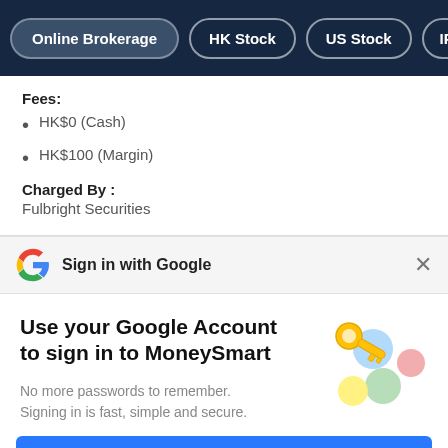Online Brokerage | HK Stock | US Stock | IPO
Fees:
HK$0 (Cash)
HK$100 (Margin)
Charged By :
Fulbright Securities
Sign in with Google
Use your Google Account to sign in to MoneySmart
No more passwords to remember.
Signing in is fast, simple and secure.
Continue